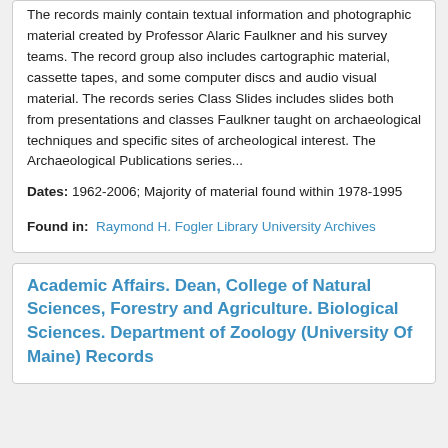The records mainly contain textual information and photographic material created by Professor Alaric Faulkner and his survey teams. The record group also includes cartographic material, cassette tapes, and some computer discs and audio visual material. The records series Class Slides includes slides both from presentations and classes Faulkner taught on archaeological techniques and specific sites of archeological interest. The Archaeological Publications series...
Dates: 1962-2006; Majority of material found within 1978-1995
Found in: Raymond H. Fogler Library University Archives
Academic Affairs. Dean, College of Natural Sciences, Forestry and Agriculture. Biological Sciences. Department of Zoology (University Of Maine) Records